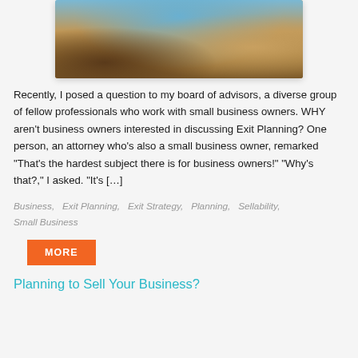[Figure (photo): Aerial or elevated view of ancient ruins or archaeological site with sandy terrain and stone structures]
Recently, I posed a question to my board of advisors, a diverse group of fellow professionals who work with small business owners. WHY aren't business owners interested in discussing Exit Planning? One person, an attorney who's also a small business owner, remarked “That’s the hardest subject there is for business owners!” “Why’s that?,” I asked. “It’s […]
Business, Exit Planning, Exit Strategy, Planning, Sellability, Small Business
MORE
Planning to Sell Your Business?